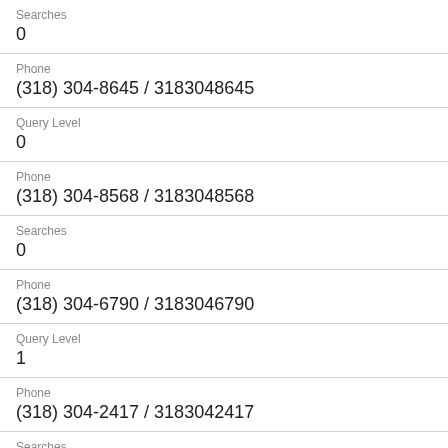Searches
0
Phone
(318) 304-8645 / 3183048645
Query Level
0
Phone
(318) 304-8568 / 3183048568
Searches
0
Phone
(318) 304-6790 / 3183046790
Query Level
1
Phone
(318) 304-2417 / 3183042417
Searches
1